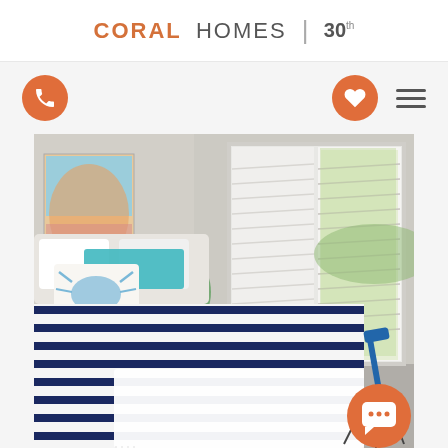CORAL HOMES | 30
[Figure (logo): Coral Homes 30th anniversary logo in header]
[Figure (other): Navigation icons: phone icon (orange circle, left), heart icon (orange circle, right), hamburger menu (right)]
[Figure (photo): Interior bedroom photo showing a bed with navy and white striped bedding and a crab-print pillow, white shuttered window with outdoor view, colorful beach artwork on wall, telescope visible on right, and a white fringe throw blanket. Orange chat bubble icon in bottom right corner.]